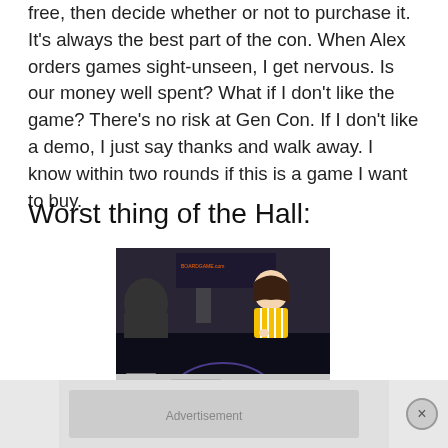free, then decide whether or not to purchase it. It's always the best part of the con. When Alex orders games sight-unseen, I get nervous. Is our money well spent? What if I don't like the game? There's no risk at Gen Con. If I don't like a demo, I just say thanks and walk away. I know within two rounds if this is a game I want to buy.
Worst thing of the Hall:
[Figure (photo): Woman in yellow striped shirt playing a complex board game with dark sci-fi theme and many cards spread on the table, at a convention hall.]
[Figure (photo): Partial view of the same or similar board game table, showing cards and game components, partially obscured by advertisement overlay.]